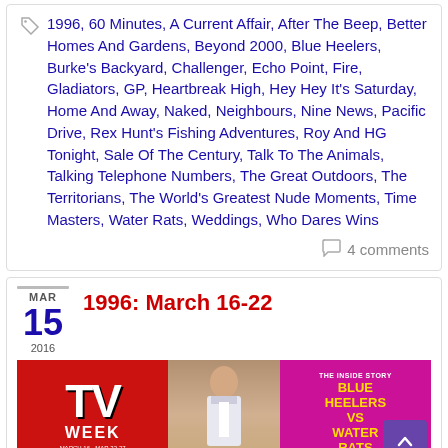1996, 60 Minutes, A Current Affair, After The Beep, Better Homes And Gardens, Beyond 2000, Blue Heelers, Burke's Backyard, Challenger, Echo Point, Fire, Gladiators, GP, Heartbreak High, Hey Hey It's Saturday, Home And Away, Naked, Neighbours, Nine News, Pacific Drive, Rex Hunt's Fishing Adventures, Roy And HG Tonight, Sale Of The Century, Talk To The Animals, Talking Telephone Numbers, The Great Outdoors, The Territorians, The World's Greatest Nude Moments, Time Masters, Water Rats, Weddings, Who Dares Wins
4 comments
MAR 15 2016
1996: March 16-22
[Figure (photo): TV Week magazine cover showing Blue Heelers vs Water Rats story with a woman in nurse uniform on the cover]